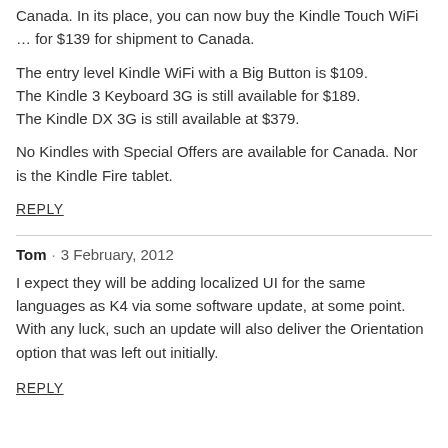Canada. In its place, you can now buy the Kindle Touch WiFi … for $139 for shipment to Canada.
The entry level Kindle WiFi with a Big Button is $109.
The Kindle 3 Keyboard 3G is still available for $189.
The Kindle DX 3G is still available at $379.
No Kindles with Special Offers are available for Canada. Nor is the Kindle Fire tablet.
REPLY
Tom · 3 February, 2012
I expect they will be adding localized UI for the same languages as K4 via some software update, at some point. With any luck, such an update will also deliver the Orientation option that was left out initially.
REPLY